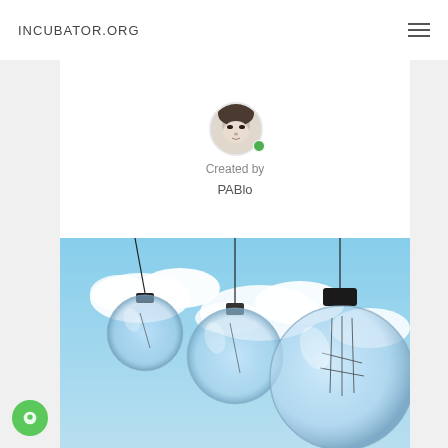INCUBATOR.ORG
[Figure (illustration): Circular avatar showing a face, with a green online indicator dot]
Created by
PABlo
[Figure (photo): Three transparent glass light bulbs hanging from wires against a bright blue sky with clouds]